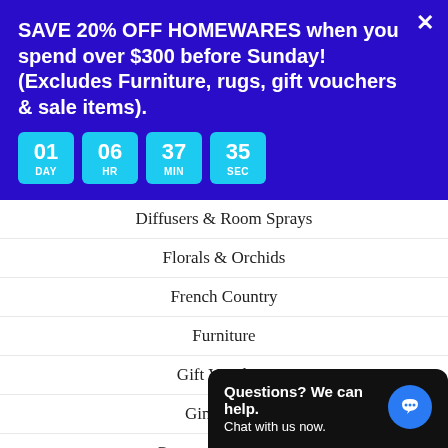SAVE 20% OFF HOMEWARES when you spend over $300 before Sunday! (Excludes Furniture, rugs, gift vouchers & sale items).
[Figure (infographic): Countdown timer showing 01 DAY, 06 HR, 37 MIN, 35 SEC in cyan rounded boxes on blue background]
Diffusers & Room Sprays
Florals & Orchids
French Country
Furniture
Gift Vouchers
Ginger Jars
Gorgeous Gift Ideas
Hamptons Luxe Under $100!
Hamptons Style
The Hamptons Furniture Collection
Jewellery
Lamps & Lig...
Linens & Th...
Mirrors
[Figure (screenshot): Chat widget overlay: 'Questions? We can help. Chat with us now.' with blue chat bubble icon on black background]